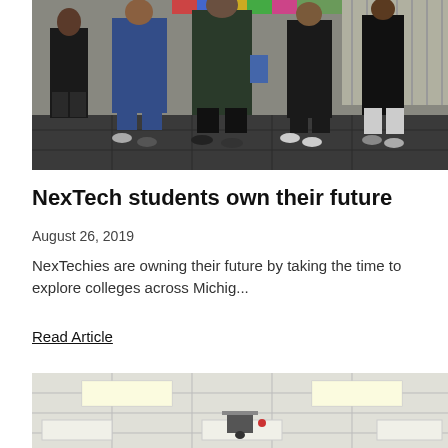[Figure (photo): Students walking through a school hallway corridor, wearing casual clothes. Dark floor tiles visible, indoor setting.]
NexTech students own their future
August 26, 2019
NexTechies are owning their future by taking the time to explore colleges across Michig...
Read Article
[Figure (photo): Interior of a classroom or common area with drop ceiling, fluorescent lighting panels, a projector hanging from the ceiling, and a banner visible on the far wall.]